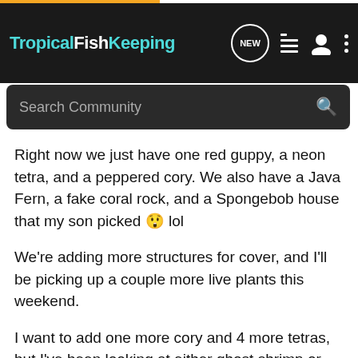TropicalFishKeeping
Search Community
Right now we just have one red guppy, a neon tetra, and a peppered cory. We also have a Java Fern, a fake coral rock, and a Spongebob house that my son picked 😲 lol
We're adding more structures for cover, and I'll be picking up a couple more live plants this weekend.
I want to add one more cory and 4 more tetras, but I've been looking at either ghost shrimp or red clawed crabs as well. I'm leaning more towards ghost shrimp, but I'm just curious if they'll have any trouble with the fish we have right now.
If they are ok, is there anything specific we need to add to the tank. I've learned not to rely on PetSmart for facts. We tried mystery snails a couple weeks ago and they all died because I